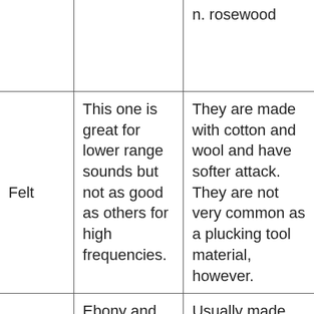|  |  |  |
| --- | --- | --- |
|  |  | n. rosewood |
| Felt | This one is great for lower range sounds but not as good as others for high frequencies. | They are made with cotton and wool and have softer attack. They are not very common as a plucking tool material, however. |
|  | Ebony and ivory, as the song goes, "live | Usually made from prehistoric bones, such as |